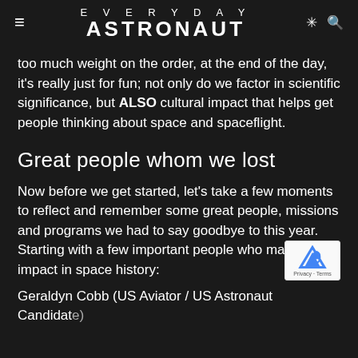EVERYDAY ASTRONAUT
too much weight on the order, at the end of the day, it's really just for fun; not only do we factor in scientific significance, but ALSO cultural impact that helps get people thinking about space and spaceflight.
Great people whom we lost
Now before we get started, let's take a few moments to reflect and remember some great people, missions and programs we had to say goodbye to this year. Starting with a few important people who made an impact in space history:
Geraldyn Cobb (US Aviator / US Astronaut Candidate)